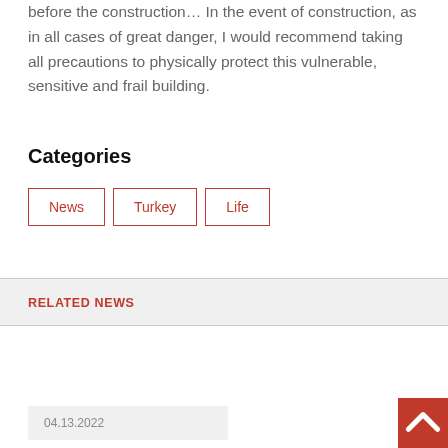before the construction... In the event of construction, as in all cases of great danger, I would recommend taking all precautions to physically protect this vulnerable, sensitive and frail building.
Categories
News
Turkey
Life
RELATED NEWS
04.13.2022